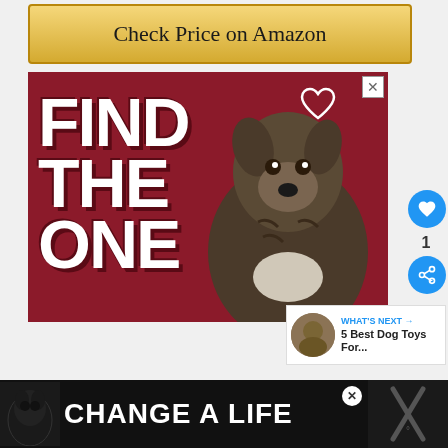[Figure (other): Yellow/gold 'Check Price on Amazon' button]
[Figure (infographic): Pet adoption advertisement with dark red background showing 'FIND THE ONE' text in large white bold letters with a brindle pit bull puppy and a heart outline icon]
1
WHAT'S NEXT → 5 Best Dog Toys For...
[Figure (infographic): Bottom banner advertisement with black background showing 'CHANGE A LIFE' in white text with a black dog image]